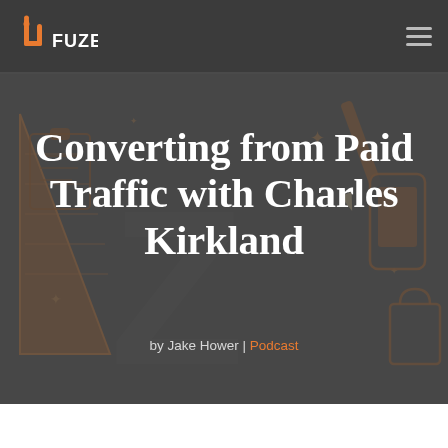FUZED
[Figure (illustration): Hero background illustration with marketing/design tools: rulers, pencils, mobile phone, shopping bag, clipboard, sparkle stars, drawn in flat orange and brown tones on dark grey background]
Converting from Paid Traffic with Charles Kirkland
by Jake Hower | Podcast